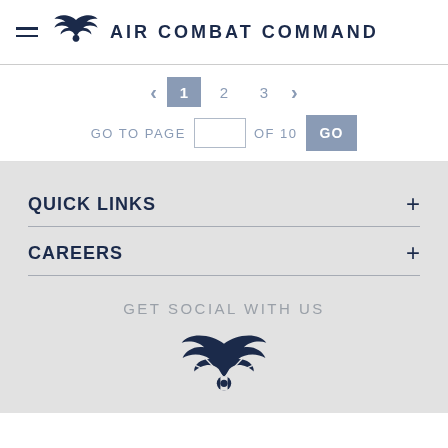AIR COMBAT COMMAND
< 1 2 3 > GO TO PAGE [input] OF 10 GO
QUICK LINKS +
CAREERS +
GET SOCIAL WITH US
[Figure (logo): Air Force wings logo in navy blue]